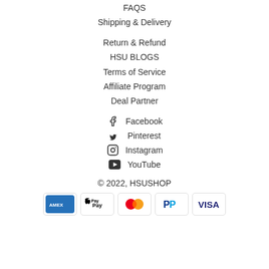FAQS
Shipping & Delivery
Return & Refund
HSU BLOGS
Terms of Service
Affiliate Program
Deal Partner
Facebook
Pinterest
Instagram
YouTube
© 2022, HSUSHOP
[Figure (other): Payment method icons: American Express, Apple Pay, Mastercard, PayPal, Visa]